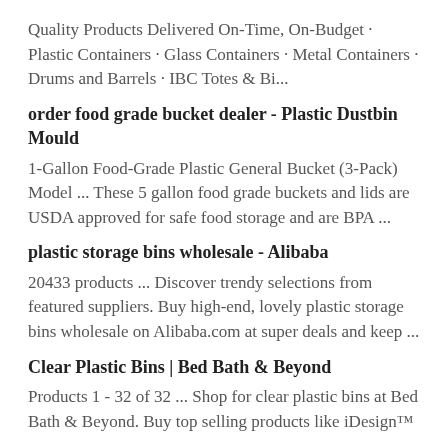Quality Products Delivered On-Time, On-Budget · Plastic Containers · Glass Containers · Metal Containers · Drums and Barrels · IBC Totes & Bi...
order food grade bucket dealer - Plastic Dustbin Mould
1-Gallon Food-Grade Plastic General Bucket (3-Pack) Model ... These 5 gallon food grade buckets and lids are USDA approved for safe food storage and are BPA ...
plastic storage bins wholesale - Alibaba
20433 products ... Discover trendy selections from featured suppliers. Buy high-end, lovely plastic storage bins wholesale on Alibaba.com at super deals and keep ...
Clear Plastic Bins | Bed Bath & Beyond
Products 1 - 32 of 32 ... Shop for clear plastic bins at Bed Bath & Beyond. Buy top selling products like iDesign™